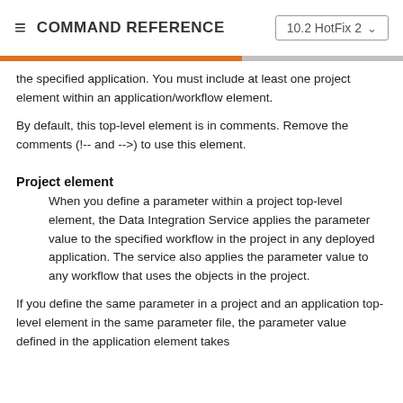COMMAND REFERENCE  10.2 HotFix 2
the specified application. You must include at least one project element within an application/workflow element.
By default, this top-level element is in comments. Remove the comments (!-- and -->) to use this element.
Project element
When you define a parameter within a project top-level element, the Data Integration Service applies the parameter value to the specified workflow in the project in any deployed application. The service also applies the parameter value to any workflow that uses the objects in the project.
If you define the same parameter in a project and an application top-level element in the same parameter file, the parameter value defined in the application element takes